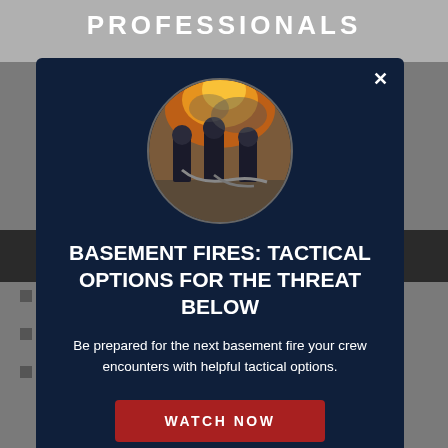PROFESSIONALS
[Figure (photo): Firefighters battling a fire, shown in circular crop]
BASEMENT FIRES: TACTICAL OPTIONS FOR THE THREAT BELOW
Be prepared for the next basement fire your crew encounters with helpful tactical options.
WATCH NOW